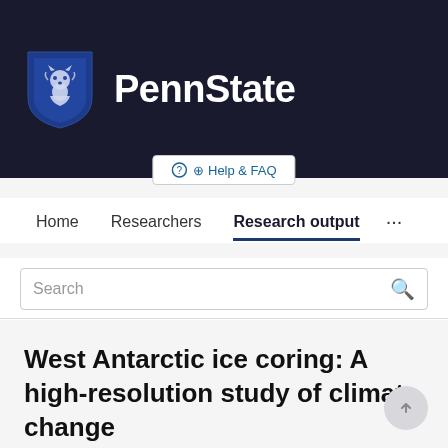[Figure (logo): Penn State university logo: blue shield with white lion mascot on left, bold white 'PennState' text on right, on dark navy background header bar]
Help & FAQ
Home   Researchers   Research output   ...
Search
West Antarctic ice coring: A high-resolution study of climate change
Richard B. Alley